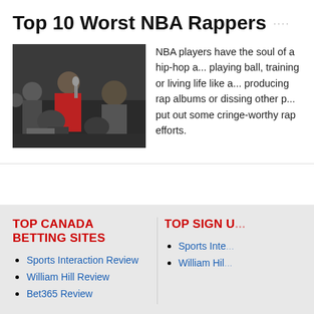Top 10 Worst NBA Rappers
[Figure (photo): Group of NBA personalities at an event, one person singing/rapping into a microphone wearing a red jacket]
NBA players have the soul of a hip-hop a... playing ball, training or living life like a... producing rap albums or dissing other p... put out some cringe-worthy rap efforts.
TOP CANADA BETTING SITES
TOP SIGN U...
Sports Interaction Review
William Hill Review
Bet365 Review
Sports Inte...
William Hil...